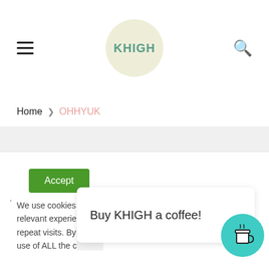KHIGH - navigation header with hamburger menu, logo, and search icon
Home > OHHYUK
[Figure (other): Gray content area placeholder]
Accept
We use cookies on our website to give you the most relevant experience by remembering your preferences and repeat visits. By clicking Accept, you consent to the use of ALL the cookies.
Buy KHIGH a coffee!